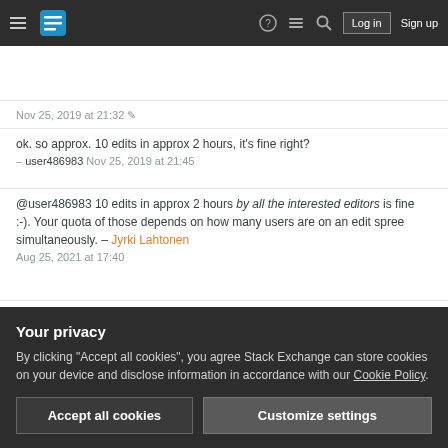Stack Exchange navigation bar with hamburger menu, logo, icons, Log in and Sign up buttons
...you get two votes and directions...  Martin Sleziak  Nov 25, 2019 at 21:32
ok. so approx. 10 edits in approx 2 hours, it's fine right? – user486983  Nov 25, 2019 at 21:45
@user486983 10 edits in approx 2 hours by all the interested editors is fine :-). Your quota of those depends on how many users are on an edit spree simultaneously. – Jyrki Lahtonen  Aug 25, 2021 at 17:40
Add a comment
I think that having 1 or 2 bumped old questions among
community wiki
Martin Sleziak
Your privacy
By clicking "Accept all cookies", you agree Stack Exchange can store cookies on your device and disclose information in accordance with our Cookie Policy.
Accept all cookies  Customize settings